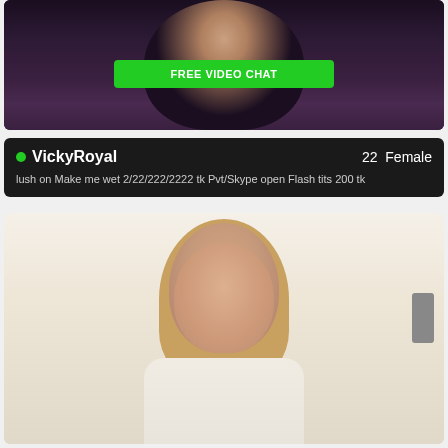[Figure (photo): Top portion of a video chat thumbnail showing a person in dark clothing against a dark background, with a green FREE VIDEO CHAT button overlaid]
FREE VIDEO CHAT
VickyRoyal  22  Female
lush on Make me wet 2/22/222/2222 tk Pvt/Skype open Flash tits 200 tk
[Figure (photo): Video chat thumbnail showing a young woman with long brown hair wearing a white top, against a light-colored wall background]